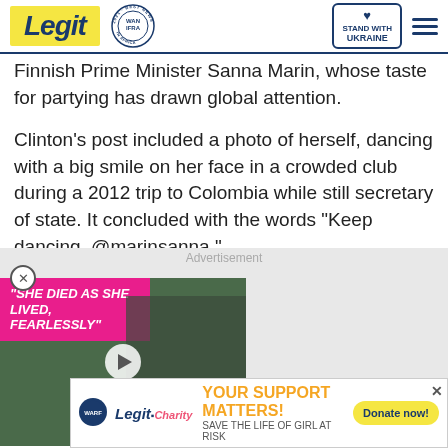Legit — WAN IFRA 2021 Best News Website in Africa — Stand With Ukraine
Finnish Prime Minister Sanna Marin, whose taste for partying has drawn global attention.
Clinton's post included a photo of herself, dancing with a big smile on her face in a crowded club during a 2012 trip to Colombia while still secretary of state. It concluded with the words "Keep dancing, @marinsanna."
Advertisement
[Figure (screenshot): Video thumbnail showing a couple at a green backdrop event with pink overlay text reading 'SHE DIED AS SHE LIVED, FEARLESSLY' and a play button]
[Figure (infographic): Legit Charity banner ad: YOUR SUPPORT MATTERS! SAVE THE LIFE OF GIRL AT RISK, with Donate now! button]